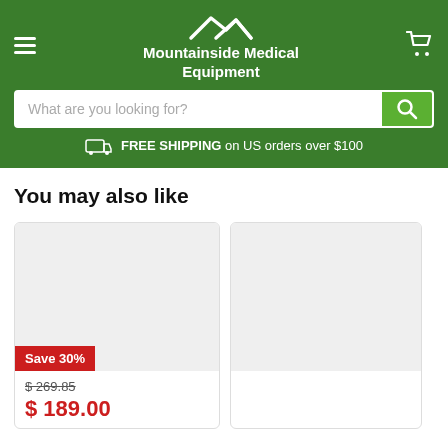[Figure (logo): Mountainside Medical Equipment logo with mountain silhouette and text]
What are you looking for?
FREE SHIPPING on US orders over $100
You may also like
[Figure (other): Product image placeholder with Save 30% badge, original price $269.85, sale price $189.00]
[Figure (other): Second product image placeholder (partially visible)]